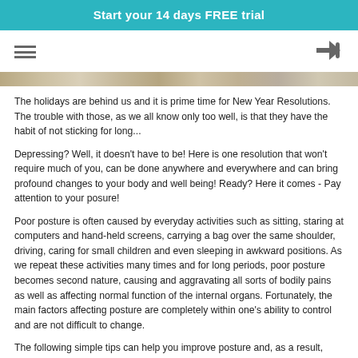Start your 14 days FREE trial
[Figure (photo): Navigation bar with hamburger menu icon on left and login arrow icon on right]
[Figure (photo): Hero image strip showing a sandy/rocky texture landscape]
The holidays are behind us and it is prime time for New Year Resolutions. The trouble with those, as we all know only too well, is that they have the habit of not sticking for long...
Depressing? Well, it doesn't have to be! Here is one resolution that won't require much of you, can be done anywhere and everywhere and can bring profound changes to your body and well being! Ready? Here it comes - Pay attention to your posure!
Poor posture is often caused by everyday activities such as sitting, staring at computers and hand-held screens, carrying a bag over the same shoulder, driving, caring for small children and even sleeping in awkward positions. As we repeat these activities many times and for long periods, poor posture becomes second nature, causing and aggravating all sorts of bodily pains as well as affecting normal function of the internal organs. Fortunately, the main factors affecting posture are completely within one's ability to control and are not difficult to change.
The following simple tips can help you improve posture and, as a result,